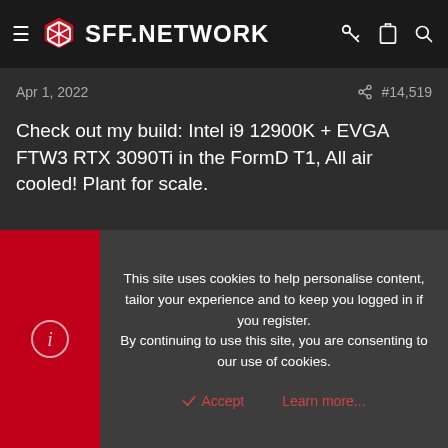SFF.NETWORK
Apr 1, 2022   #14,519
Check out my build: Intel i9 12900K + EVGA FTW3 RTX 3090Ti in the FormD T1, All air cooled! Plant for scale.
Spoiler
🤣👍😲 Talyrius, NinoPecorino, hetvler and 6 others
This site uses cookies to help personalise content, tailor your experience and to keep you logged in if you register. By continuing to use this site, you are consenting to our use of cookies.
Accept   Learn more...